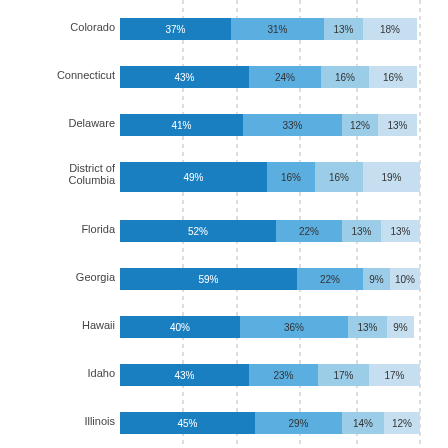[Figure (stacked-bar-chart): Stacked horizontal bar chart by state]